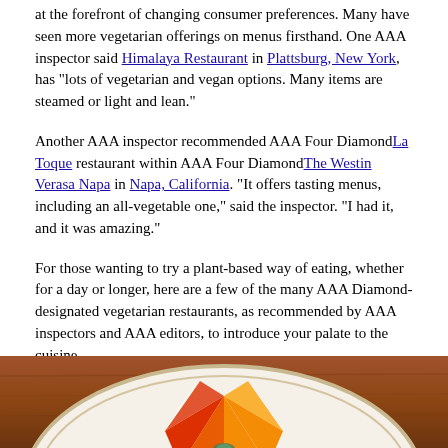at the forefront of changing consumer preferences. Many have seen more vegetarian offerings on menus firsthand. One AAA inspector said Himalaya Restaurant in Plattsburg, New York, has "lots of vegetarian and vegan options. Many items are steamed or light and lean."
Another AAA inspector recommended AAA Four Diamond La Toque restaurant within AAA Four Diamond The Westin Verasa Napa in Napa, California. "It offers tasting menus, including an all-vegetable one," said the inspector. "I had it, and it was amazing."
For those wanting to try a plant-based way of eating, whether for a day or longer, here are a few of the many AAA Diamond-designated vegetarian restaurants, as recommended by AAA inspectors and AAA editors, to introduce your palate to the cuisine.
[Figure (photo): A decorative plate with colorful orange, red, and white food arrangement visible at the bottom of the page, set on a wooden table surface.]